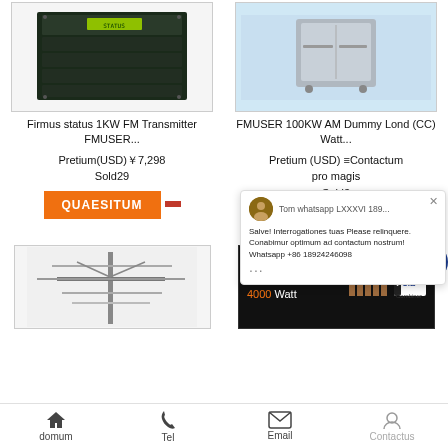[Figure (photo): Firmus status 1KW FM Transmitter rack unit, dark green/black equipment]
[Figure (photo): FMUSER 100KW/200KW AM Dummy Load unit, silver/grey cabinet on blue background with text FMUSER 100KW/200KW AM DUMMY LOAD]
Firmus status 1KW FM Transmitter FMUSER...
FMUSER 100KW AM Dummy Lond (CC) Watt...
Pretium(USD)￥7,298
Sold29
Pretium (USD) ≡Contactum pro magis
Sold3
QUAESITUM
QUAESITUM
[Figure (photo): Antenna/mast equipment, grey metal yagi-style antenna on pole]
[Figure (photo): 4KW 4000 Watt product image with FM CIB Combiner logo, dark background]
Salve! Interrogationes tuas Please relinquere. Conabimur optimum ad contactum nostrum! Whatsapp +86 18924246098
domum   Tel   Email   Contactus